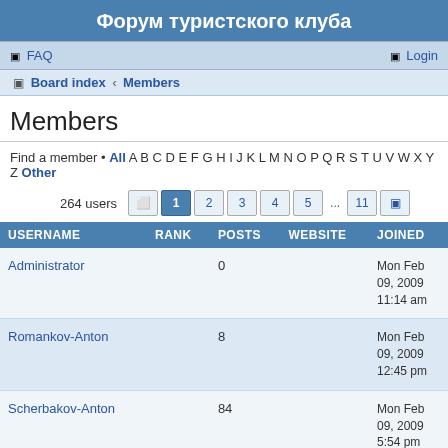Форум туристского клуба
FAQ  Login
Board index ‹ Members
Members
Find a member • All A B C D E F G H I J K L M N O P Q R S T U V W X Y Z Other
264 users  1 2 3 4 5 ... 11
| USERNAME | RANK | POSTS | WEBSITE | JOINED |
| --- | --- | --- | --- | --- |
| Administrator |  | 0 |  | Mon Feb 09, 2009 11:14 am |
| Romankov-Anton |  | 8 |  | Mon Feb 09, 2009 12:45 pm |
| Scherbakov-Anton |  | 84 |  | Mon Feb 09, 2009 5:54 pm |
| Korolenko-Leonid |  | 0 |  | Tue Feb 10, 2009 9:46 am |